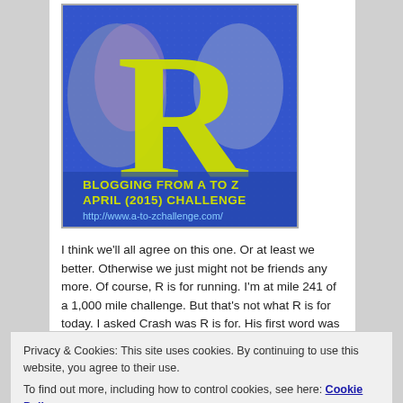[Figure (illustration): A-to-Z April 2015 Challenge badge showing a large yellow letter R on a blue background with the text 'BLOGGING FROM A TO Z APRIL (2015) CHALLENGE http://www.a-to-zchallenge.com/' in yellow/lime text]
I think we'll all agree on this one. Or at least we better. Otherwise we just might not be friends any more. Of course, R is for running. I'm at mile 241 of a 1,000 mile challenge. But that's not what R is for today. I asked Crash was R is for. His first word was rascal. Yes, definitely. They are rascals for sure. Perhaps I should
Privacy & Cookies: This site uses cookies. By continuing to use this website, you agree to their use.
To find out more, including how to control cookies, see here: Cookie Policy